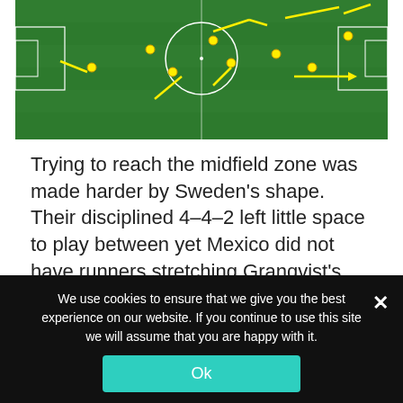[Figure (screenshot): Soccer/football tactical screenshot showing a green pitch with yellow arrows indicating player movements and formations. Taken from a broadcast angle showing most of the pitch.]
Trying to reach the midfield zone was made harder by Sweden's shape. Their disciplined 4–4–2 left little space to play between yet Mexico did not have runners stretching Granqvist's backline.
[Figure (screenshot): Partial screenshot of a football match broadcast showing crowd and pitch from a different camera angle.]
We use cookies to ensure that we give you the best experience on our website. If you continue to use this site we will assume that you are happy with it.